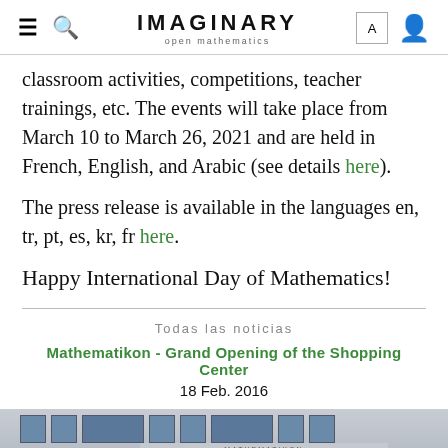IMAGINARY open mathematics
classroom activities, competitions, teacher trainings, etc. The events will take place from March 10 to March 26, 2021 and are held in French, English, and Arabic (see details here).
The press release is available in the languages en, tr, pt, es, kr, fr here.
Happy International Day of Mathematics!
Todas las noticias
Mathematikon - Grand Opening of the Shopping Center
18 Feb. 2016
[Figure (photo): Exterior photo of the Mathematikon building showing the facade with windows and the building sign 'MATHEMATIKON', with a person standing near the entrance.]